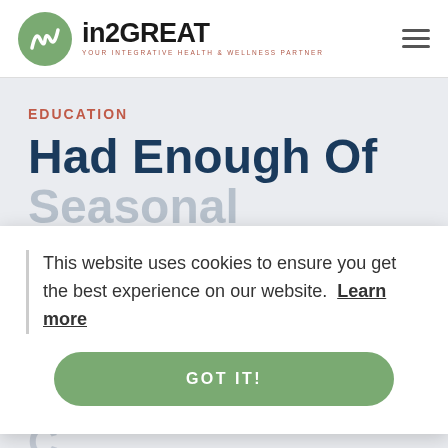[Figure (logo): in2GREAT logo — green circle with stylized 'w' icon, company name in bold dark text, tagline 'YOUR INTEGRATIVE HEALTH & WELLNESS PARTNER' in small reddish uppercase letters]
EDUCATION
Had Enough Of Seasonal Allergies?
This website uses cookies to ensure you get the best experience on our website. Learn more
GOT IT!